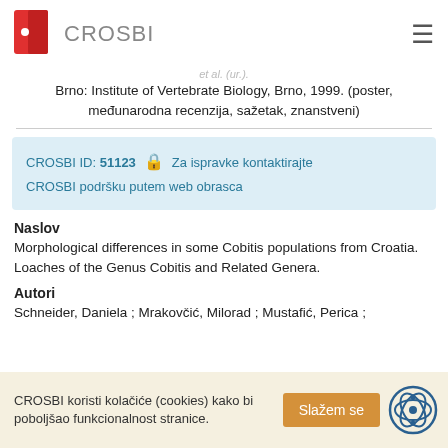CROSBI
et al. (ur.).
Brno: Institute of Vertebrate Biology, Brno, 1999. (poster, međunarodna recenzija, sažetak, znanstveni)
CROSBI ID: 51123  Za ispravke kontaktirajte CROSBI podršku putem web obrasca
Naslov
Morphological differences in some Cobitis populations from Croatia. Loaches of the Genus Cobitis and Related Genera.
Autori
Schneider, Daniela ; Mrakovčić, Milorad ; Mustafić, Perica ;
CROSBI koristi kolačiće (cookies) kako bi poboljšao funkcionalnost stranice.